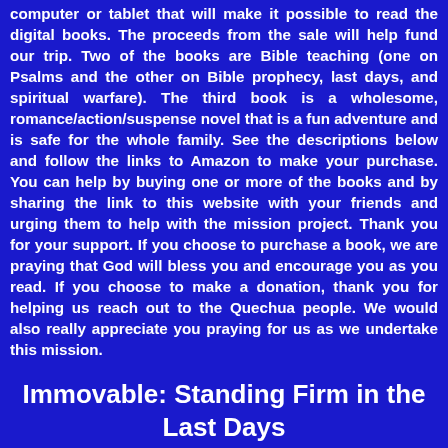computer or tablet that will make it possible to read the digital books. The proceeds from the sale will help fund our trip. Two of the books are Bible teaching (one on Psalms and the other on Bible prophecy, last days, and spiritual warfare). The third book is a wholesome, romance/action/suspense novel that is a fun adventure and is safe for the whole family. See the descriptions below and follow the links to Amazon to make your purchase. You can help by buying one or more of the books and by sharing the link to this website with your friends and urging them to help with the mission project. Thank you for your support. If you choose to purchase a book, we are praying that God will bless you and encourage you as you read. If you choose to make a donation, thank you for helping us reach out to the Quechua people. We would also really appreciate you praying for us as we undertake this mission.
Immovable: Standing Firm in the Last Days
Are you prepared to stand firm in the last